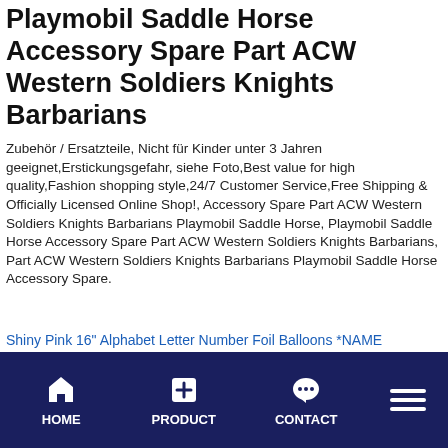Playmobil Saddle Horse Accessory Spare Part ACW Western Soldiers Knights Barbarians
Zubehör / Ersatzteile, Nicht für Kinder unter 3 Jahren geeignet,Erstickungsgefahr, siehe Foto,Best value for high quality,Fashion shopping style,24/7 Customer Service,Free Shipping & Officially Licensed Online Shop!, Accessory Spare Part ACW Western Soldiers Knights Barbarians Playmobil Saddle Horse, Playmobil Saddle Horse Accessory Spare Part ACW Western Soldiers Knights Barbarians, Part ACW Western Soldiers Knights Barbarians Playmobil Saddle Horse Accessory Spare.
Shiny Pink 16" Alphabet Letter Number Foil Balloons *NAME BIRTHDAY PARTY
in 30" 5000 cu NexPak Duffel Bag RB030 BK BLACK
Nibbler Graphic Die Cut decal sticker Car Truck Boat Window Laptop 7"
HOME  PRODUCT  CONTACT